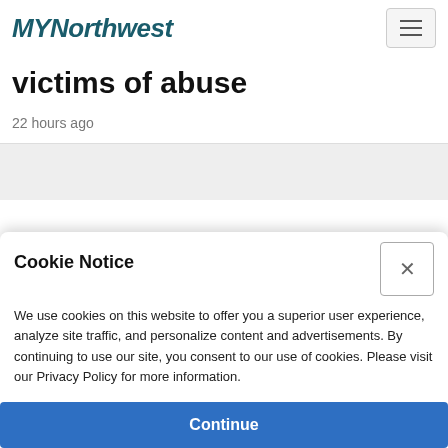MYNorthwest
victims of abuse
22 hours ago
Cookie Notice
We use cookies on this website to offer you a superior user experience, analyze site traffic, and personalize content and advertisements. By continuing to use our site, you consent to our use of cookies. Please visit our Privacy Policy for more information.
Continue